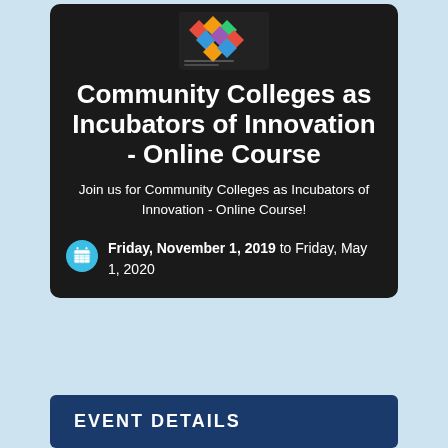[Figure (illustration): Book cover image with colorful geometric shapes on a dark background]
Community Colleges as Incubators of Innovation - Online Course
Join us for Community Colleges as Incubators of Innovation - Online Course!
Friday, November 1, 2019 to Friday, May 1, 2020
EVENT DETAILS